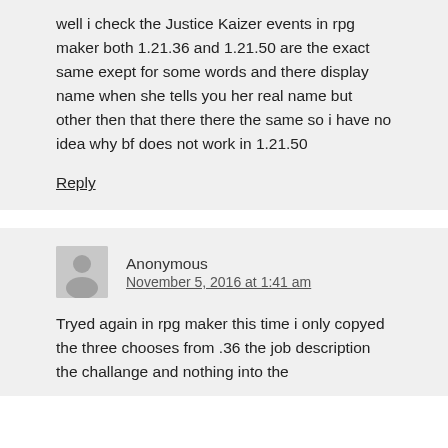well i check the Justice Kaizer events in rpg maker both 1.21.36 and 1.21.50 are the exact same exept for some words and there display name when she tells you her real name but other then that there there the same so i have no idea why bf does not work in 1.21.50
Reply
Anonymous
November 5, 2016 at 1:41 am
Tryed again in rpg maker this time i only copyed the three chooses from .36 the job description the challange and nothing into the